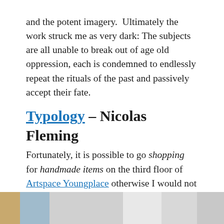and the potent imagery. Ultimately the work struck me as very dark: The subjects are all unable to break out of age old oppression, each is condemned to endlessly repeat the rituals of the past and passively accept their fate.
Typology – Nicolas Fleming
Fortunately, it is possible to go shopping for handmade items on the third floor of Artspace Youngplace otherwise I would not have trekked upstairs and come across the tiny gallery called Typology.
[Figure (photo): Partial view of a photo strip showing artwork or gallery images at the bottom of the page]